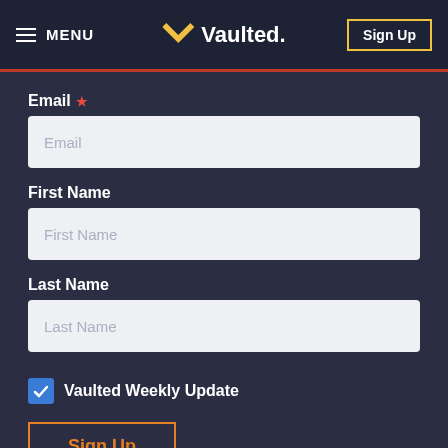MENU | Vaulted. | Sign Up
Email *
Email (placeholder)
First Name
First Name (placeholder)
Last Name
Last Name (placeholder)
Vaulted Weekly Update (checkbox, checked)
Sign Up (button)